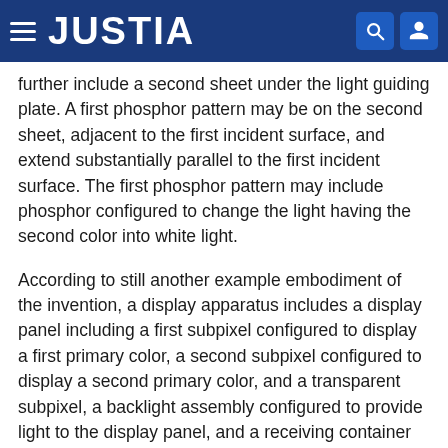JUSTIA
further include a second sheet under the light guiding plate. A first phosphor pattern may be on the second sheet, adjacent to the first incident surface, and extend substantially parallel to the first incident surface. The first phosphor pattern may include phosphor configured to change the light having the second color into white light.
According to still another example embodiment of the invention, a display apparatus includes a display panel including a first subpixel configured to display a first primary color, a second subpixel configured to display a second primary color, and a transparent subpixel, a backlight assembly configured to provide light to the display panel, and a receiving container accommodating the display panel and the backlight assembly. The backlight assembly includes a first light source part